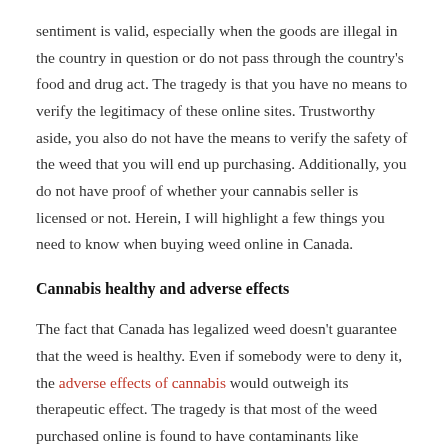sentiment is valid, especially when the goods are illegal in the country in question or do not pass through the country's food and drug act. The tragedy is that you have no means to verify the legitimacy of these online sites. Trustworthy aside, you also do not have the means to verify the safety of the weed that you will end up purchasing. Additionally, you do not have proof of whether your cannabis seller is licensed or not. Herein, I will highlight a few things you need to know when buying weed online in Canada.
Cannabis healthy and adverse effects
The fact that Canada has legalized weed doesn't guarantee that the weed is healthy. Even if somebody were to deny it, the adverse effects of cannabis would outweigh its therapeutic effect. The tragedy is that most of the weed purchased online is found to have contaminants like pesticides. That tells you that most dealers online are not federally licensed to sell weed. To be precise,